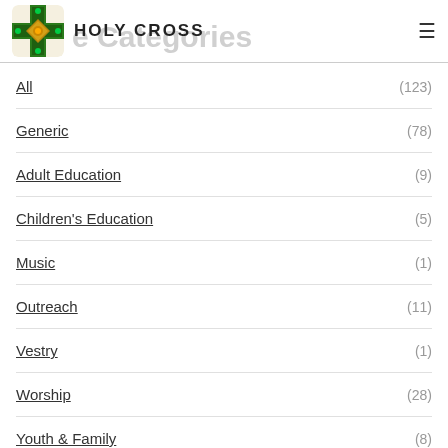HOLY CROSS
All (123)
Generic (78)
Adult Education (9)
Children's Education (5)
Music (1)
Outreach (11)
Vestry (1)
Worship (28)
Youth & Family (8)